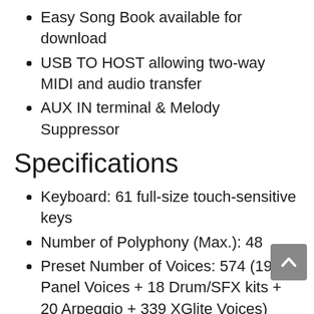Easy Song Book available for download
USB TO HOST allowing two-way MIDI and audio transfer
AUX IN terminal & Melody Suppressor
Specifications
Keyboard: 61 full-size touch-sensitive keys
Number of Polyphony (Max.): 48
Preset Number of Voices: 574 (197 Panel Voices + 18 Drum/SFX kits + 20 Arpeggio + 339 XGlite Voices)
Effects: Reverb (12), Chorus (5), Master EQ (6), Harmony (26)